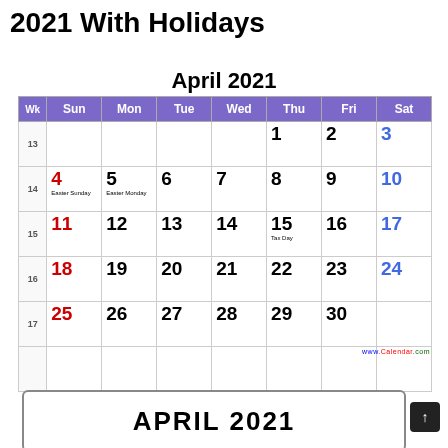2021 With Holidays
April 2021
| Wk | Sun | Mon | Tue | Wed | Thu | Fri | Sat |
| --- | --- | --- | --- | --- | --- | --- | --- |
| 13 |  |  |  |  | 1 | 2 | 3 |
| 14 | 4 Easter Sunday | 5 Easter Monday | 6 | 7 | 8 | 9 | 10 |
| 15 | 11 | 12 | 13 | 14 | 15 Tax Day | 16 | 17 |
| 16 | 18 | 19 | 20 | 21 | 22 | 23 | 24 |
| 17 | 25 | 26 | 27 | 28 | 29 | 30 |  |
|  |  |  |  |  |  |  |  |
APRIL 2021